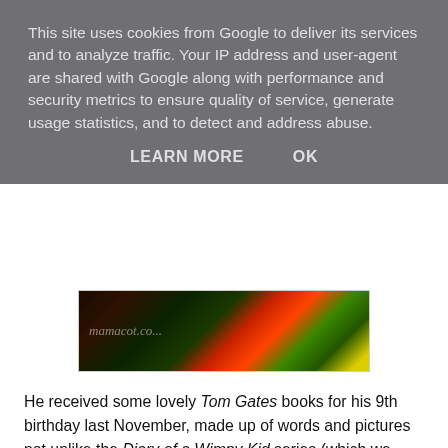This site uses cookies from Google to deliver its services and to analyze traffic. Your IP address and user-agent are shared with Google along with performance and security metrics to ensure quality of service, generate usage statistics, and to detect and address abuse.
LEARN MORE   OK
[Figure (photo): A colorful image with green and red tones, with watermark text 'mamacot.co...']
He received some lovely Tom Gates books for his 9th birthday last November, made up of words and pictures not unlike the Diary of a Wimpy Kid series (which we also have), and he has absolutely loved reading them. The fun layout of the book is, I think, ideal for reluctant readers or those who have difficulties. H reads them before bed every night and has been thoroughly enjoying them. I will be choosing some new books for him, and I have printed out some book review sheets for him to fill out as he finishes each book.
I have visited the twinkl.co.uk and sparklebox.co.uk